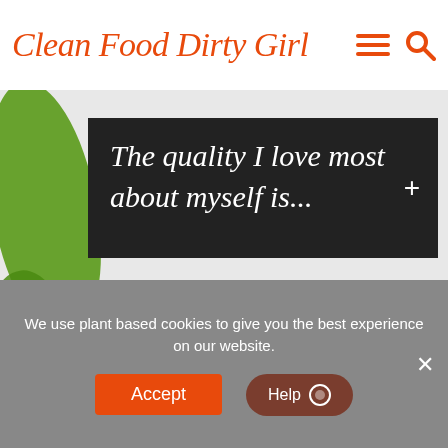Clean Food Dirty Girl
The quality I love most about myself is...
How does eating plants enrich your life?
We use plant based cookies to give you the best experience on our website.